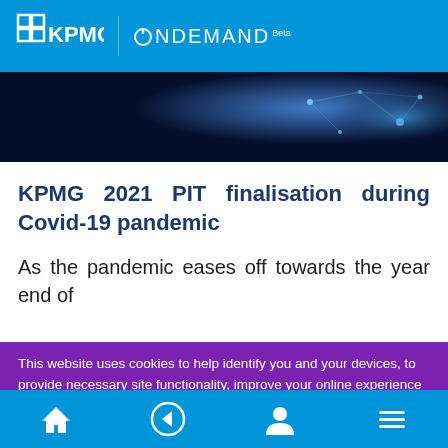KPMG ONDEMAND Beta
[Figure (photo): Dark blue abstract network/technology background image with glowing light nodes]
KPMG 2021 PIT finalisation during Covid-19 pandemic
As the pandemic eases off towards the year end of
This website uses cookies to help identify you and your devices, to provide necessary site functionality, improve your online experience and conduct advertising and analysis. By using this website, you agree to the use of cookies as outlined in KPMG's online privacy statement.
Accept All Cookies
Navigation bar with home, back, profile, and menu icons